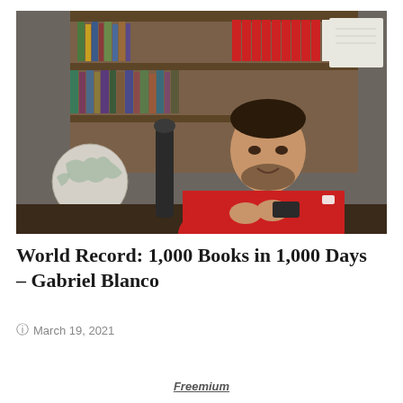[Figure (photo): A man in a red suit jacket seated at a desk, gesturing with his hands. Behind him is a bookshelf filled with books and a globe on the desk to his left. He appears to be in an office setting.]
World Record: 1,000 Books in 1,000 Days – Gabriel Blanco
March 19, 2021
Freemium